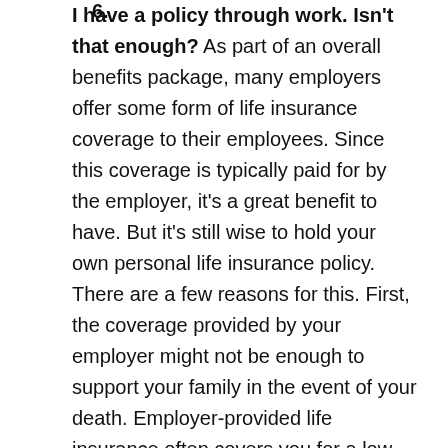I have a policy through work. Isn't that enough? As part of an overall benefits package, many employers offer some form of life insurance coverage to their employees. Since this coverage is typically paid for by the employer, it's a great benefit to have. But it's still wise to hold your own personal life insurance policy. There are a few reasons for this. First, the coverage provided by your employer might not be enough to support your family in the event of your death. Employer-provided life insurance often covers you for a low set amount – like $50,000. Additionally, your coverage will be lost if you take another job or find yourself unemployed. Read more in our related story on why it matters to have life